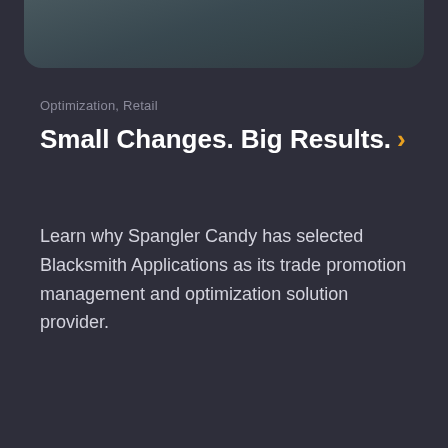[Figure (photo): Partial image visible at top of card, dark teal/grey tones, cropped with rounded bottom corners]
Optimization, Retail
Small Changes. Big Results. ›
Learn why Spangler Candy has selected Blacksmith Applications as its trade promotion management and optimization solution provider.